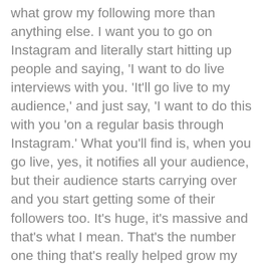what grow my following more than anything else. I want you to go on Instagram and literally start hitting up people and saying, 'I want to do live interviews with you. 'It'll go live to my audience,' and just say, 'I want to do this with you 'on a regular basis through Instagram.' What you'll find is, when you go live, yes, it notifies all your audience, but their audience starts carrying over and you start getting some of their followers too. It's huge, it's massive and that's what I mean. That's the number one thing that's really helped grow my following over the years. But here's the little trick I did that really accelerated my growth. See, once you start doing that and you start going from 500 to 1,000 to a few thousand followers, and even start getting to five, 10,000 followers, then what I want you to do is hit up other people who have more popular pages that you know do interviews within your region, like, maybe interviews on entrepreneurship or design or fashion or any of those cool things, and see if they want to interview you on their brand. Now, once you do that,